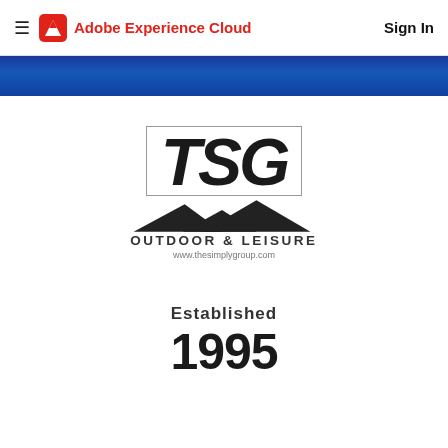Adobe Experience Cloud  Sign In
[Figure (logo): TSG Outdoor & Leisure logo with mountain silhouette and website www.thesimplygroup.com]
Established
1995